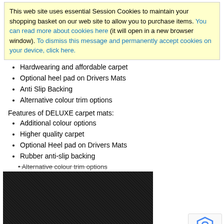This web site uses essential Session Cookies to maintain your shopping basket on our web site to allow you to purchase items. You can read more about cookies here (it will open in a new browser window). To dismiss this message and permanently accept cookies on your device, click here.
Hardwearing and affordable carpet
Optional heel pad on Drivers Mats
Anti Slip Backing
Alternative colour trim options
Features of DELUXE carpet mats:
Additional colour options
Higher quality carpet
Optional Heel pad on Drivers Mats
Rubber anti-slip backing
Alternative colour trim options
[Figure (photo): A dark black carpet mat preview image with caption '(A preview of the options you have chosen*)']
Even higher quality carpet